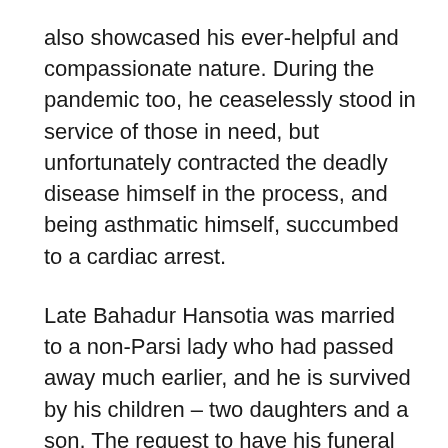also showcased his ever-helpful and compassionate nature. During the pandemic too, he ceaselessly stood in service of those in need, but unfortunately contracted the deadly disease himself in the process, and being asthmatic himself, succumbed to a cardiac arrest.
Late Bahadur Hansotia was married to a non-Parsi lady who had passed away much earlier, and he is survived by his children – two daughters and a son. The request to have his funeral prayers performed at the Karani Agiary, in Cusrow Baug, was turned away on the basis of his being inter-married. This led to an outpouring of reactions – some hurt and some angry – resulting in a controversy of sorts.
Parsi Time has received a large number of messages and mails sharing their anguish at the refusal for prayers of a man that was as helpful and kind as the